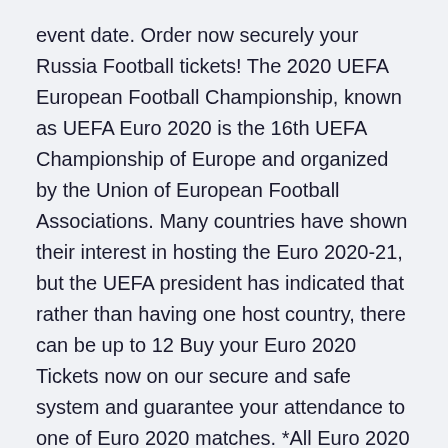event date. Order now securely your Russia Football tickets! The 2020 UEFA European Football Championship, known as UEFA Euro 2020 is the 16th UEFA Championship of Europe and organized by the Union of European Football Associations. Many countries have shown their interest in hosting the Euro 2020-21, but the UEFA president has indicated that rather than having one host country, there can be up to 12 Buy your Euro 2020 Tickets now on our secure and safe system and guarantee your attendance to one of Euro 2020 matches. *All Euro 2020 Tickets are 100% guaranteed!
During this exciting match, the two best football nations in Europe will battle to win Europe's most desirable football trophy, UEFA Euro 2021 Cup. The Euro 2021 Final is the last chance for at least one side will take home in the